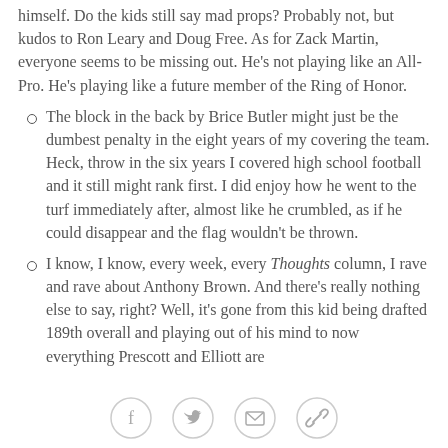himself. Do the kids still say mad props? Probably not, but kudos to Ron Leary and Doug Free. As for Zack Martin, everyone seems to be missing out. He's not playing like an All-Pro. He's playing like a future member of the Ring of Honor.
The block in the back by Brice Butler might just be the dumbest penalty in the eight years of my covering the team. Heck, throw in the six years I covered high school football and it still might rank first. I did enjoy how he went to the turf immediately after, almost like he crumbled, as if he could disappear and the flag wouldn't be thrown.
I know, I know, every week, every Thoughts column, I rave and rave about Anthony Brown. And there's really nothing else to say, right? Well, it's gone from this kid being drafted 189th overall and playing out of his mind to now everything Prescott and Elliott are
[Figure (other): Social sharing icons: Facebook, Twitter, Email, Link]